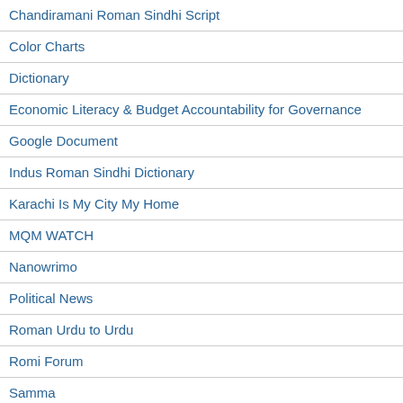Chandiramani Roman Sindhi Script
Color Charts
Dictionary
Economic Literacy & Budget Accountability for Governance
Google Document
Indus Roman Sindhi Dictionary
Karachi Is My City My Home
MQM WATCH
Nanowrimo
Political News
Roman Urdu to Urdu
Romi Forum
Samma